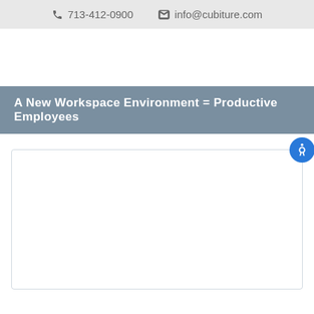📞 713-412-0900   ✉ info@cubiture.com
A New Workspace Environment = Productive Employees
[Figure (other): White content area with rounded border and blue accessibility icon button in top-right corner]